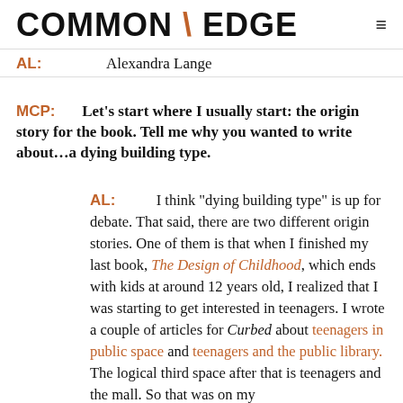COMMON \ EDGE
AL: Alexandra Lange
MCP: Let’s start where I usually start: the origin story for the book. Tell me why you wanted to write about…a dying building type.
AL: I think “dying building type” is up for debate. That said, there are two different origin stories. One of them is that when I finished my last book, The Design of Childhood, which ends with kids at around 12 years old, I realized that I was starting to get interested in teenagers. I wrote a couple of articles for Curbed about teenagers in public space and teenagers and the public library. The logical third space after that is teenagers and the mall. So that was on my